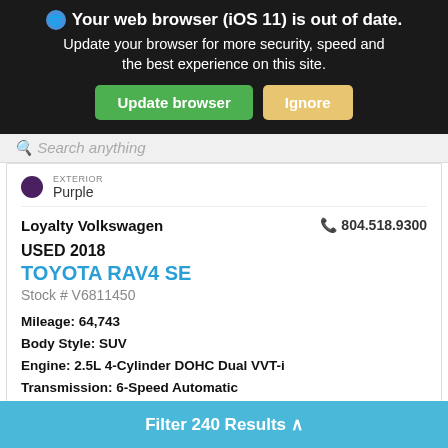Your web browser (iOS 11) is out of date. Update your browser for more security, speed and the best experience on this site.
Search anything
EXTERIOR
Purple
Loyalty Volkswagen
804.518.9300
USED 2018
TOYOTA RAV4 SE
Stock # V6811450
Mileage: 64,743
Body Style: SUV
Engine: 2.5L 4-Cylinder DOHC Dual VVT-i
Transmission: 6-Speed Automatic
Drivetrain: AWD
HWY:  28  |  CITY :  22
Value Your Trade
Filter 240 Results ^